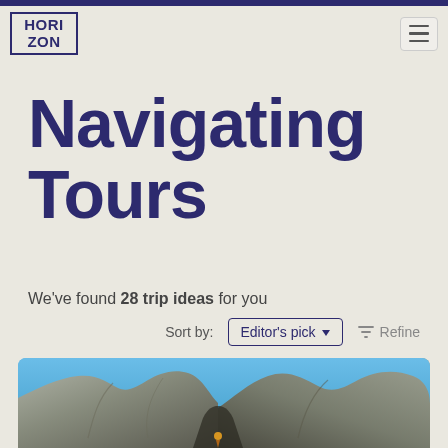Horizon
Navigating Tours
We've found 28 trip ideas for you
Sort by: Editor's pick  Refine
[Figure (photo): Photo of marble caves / rock formations with blue sky, part of a travel tour card]